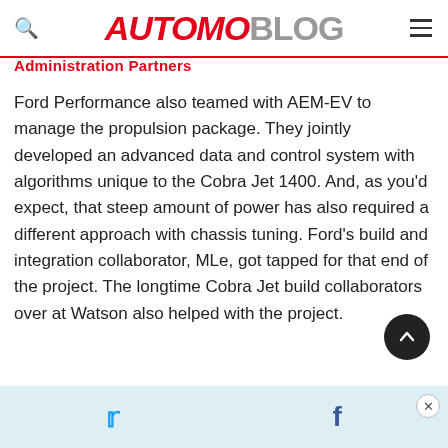AUTOMOBLOG
Administration Partners
Ford Performance also teamed with AEM-EV to manage the propulsion package. They jointly developed an advanced data and control system with algorithms unique to the Cobra Jet 1400. And, as you'd expect, that steep amount of power has also required a different approach with chassis tuning. Ford's build and integration collaborator, MLe, got tapped for that end of the project. The longtime Cobra Jet build collaborators over at Watson also helped with the project.
Social share bar with Twitter and Facebook icons